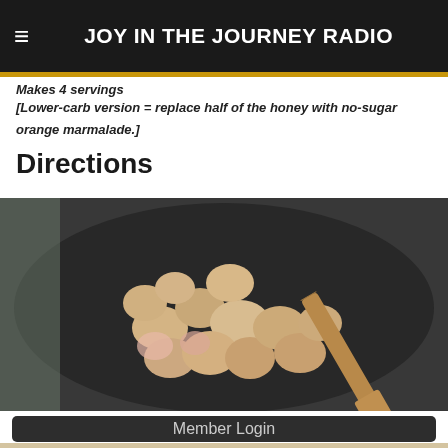JOY IN THE JOURNEY RADIO
Makes 4 servings
[Lower-carb version = replace half of the honey with no-sugar orange marmalade.]
Directions
[Figure (photo): Raw chicken pieces being cooked in a dark non-stick frying pan, with a wooden spatula visible on the right side.]
Member Login
[Figure (photo): Partial view of a second cooking photo at the bottom of the page.]